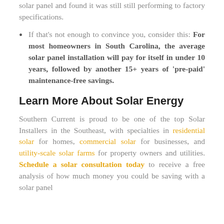solar panel and found it was still still performing to factory specifications.
If that's not enough to convince you, consider this: For most homeowners in South Carolina, the average solar panel installation will pay for itself in under 10 years, followed by another 15+ years of 'pre-paid' maintenance-free savings.
Learn More About Solar Energy
Southern Current is proud to be one of the top Solar Installers in the Southeast, with specialties in residential solar for homes, commercial solar for businesses, and utility-scale solar farms for property owners and utilities. Schedule a solar consultation today to receive a free analysis of how much money you could be saving with a solar panel